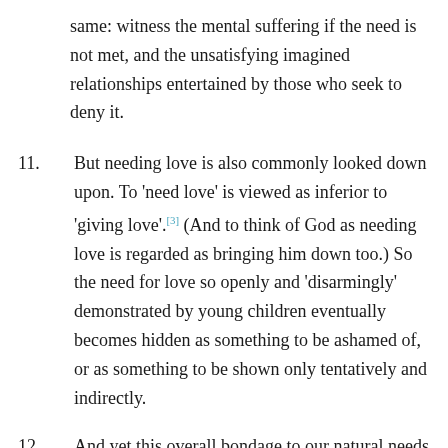same: witness the mental suffering if the need is not met, and the unsatisfying imagined relationships entertained by those who seek to deny it.
11. But needing love is also commonly looked down upon. To 'need love' is viewed as inferior to 'giving love'.[3] (And to think of God as needing love is regarded as bringing him down too.) So the need for love so openly and 'disarmingly' demonstrated by young children eventually becomes hidden as something to be ashamed of, or as something to be shown only tentatively and indirectly.
12. And yet this overall bondage to our natural needs does not have to be viewed as problematic. We